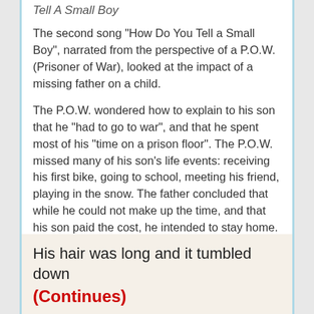Tell A Small Boy
The second song "How Do You Tell a Small Boy", narrated from the perspective of a P.O.W. (Prisoner of War), looked at the impact of a missing father on a child.
The P.O.W. wondered how to explain to his son that he "had to go to war", and that he spent most of his "time on a prison floor". The P.O.W. missed many of his son's life events: receiving his first bike, going to school, meeting his friend, playing in the snow. The father concluded that while he could not make up the time, and that his son paid the cost, he intended to stay home.
Vietnam War Songs Project [external link]
His hair was long and it tumbled down
(Continues)